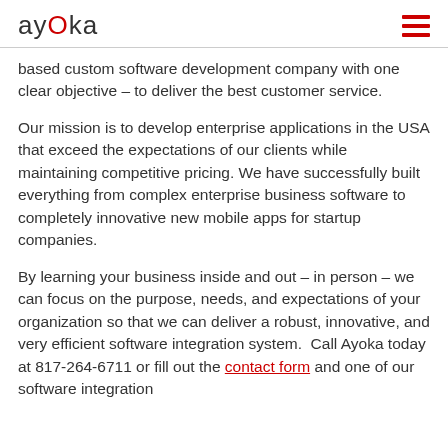ayOka
based custom software development company with one clear objective – to deliver the best customer service.
Our mission is to develop enterprise applications in the USA that exceed the expectations of our clients while maintaining competitive pricing. We have successfully built everything from complex enterprise business software to completely innovative new mobile apps for startup companies.
By learning your business inside and out – in person – we can focus on the purpose, needs, and expectations of your organization so that we can deliver a robust, innovative, and very efficient software integration system.  Call Ayoka today at 817-264-6711 or fill out the contact form and one of our software integration